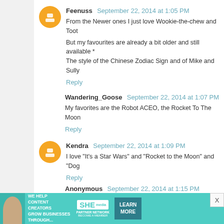Feenuss September 22, 2014 at 1:05 PM
From the Newer ones I just love Wookie-the-chew and Toot
But my favourites are already a bit older and still available * The style of the Chinese Zodiac Sign and of Mike and Sully
Reply
Wandering_Goose September 22, 2014 at 1:07 PM
My favorites are the Robot ACEO, the Rocket To The Moon
Reply
Kendra September 22, 2014 at 1:09 PM
I love "It's a Star Wars" and "Rocket to the Moon" and "Dog
Reply
Anonymous September 22, 2014 at 1:15 PM
godzilla in love or chewie & c3po, please! I have long...
[Figure (screenshot): SHE Media Partner Network advertisement banner with 'WE HELP CONTENT CREATORS GROW BUSINESSES THROUGH...' text and LEARN MORE button]